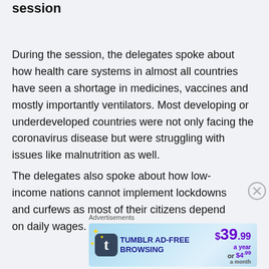session
During the session, the delegates spoke about how health care systems in almost all countries have seen a shortage in medicines, vaccines and mostly importantly ventilators. Most developing or underdeveloped countries were not only facing the coronavirus disease but were struggling with issues like malnutrition as well.
The delegates also spoke about how low-income nations cannot implement lockdowns and curfews as most of their citizens depend on daily wages.
Advertisements
[Figure (other): Tumblr AD-FREE BROWSING advertisement banner showing $39.99 a year or $4.99 a month pricing]